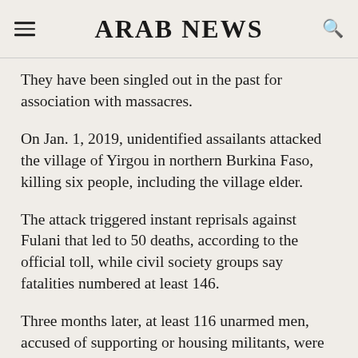ARAB NEWS
They have been singled out in the past for association with massacres.
On Jan. 1, 2019, unidentified assailants attacked the village of Yirgou in northern Burkina Faso, killing six people, including the village elder.
The attack triggered instant reprisals against Fulani that led to 50 deaths, according to the official toll, while civil society groups say fatalities numbered at least 146.
Three months later, at least 116 unarmed men, accused of supporting or housing militants, were believed to have been killed by the security